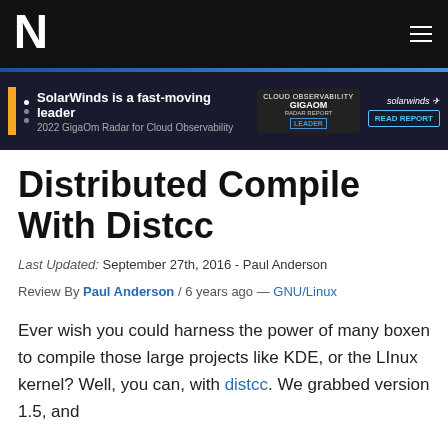N1 (logo) — navigation header
[Figure (infographic): SolarWinds advertisement banner: 'SolarWinds is a fast-moving leader — 2022 GigaOm Radar for Cloud Observability' with GigaOm Radar Report Leader badge and Read Report button]
Distributed Compile With Distcc
Last Updated: September 27th, 2016 - Paul Anderson
Review By Paul Anderson / 6 years ago — GNU/Linux
Ever wish you could harness the power of many boxen to compile those large projects like KDE, or the LInux kernel? Well, you can, with distcc. We grabbed version 1.5, and